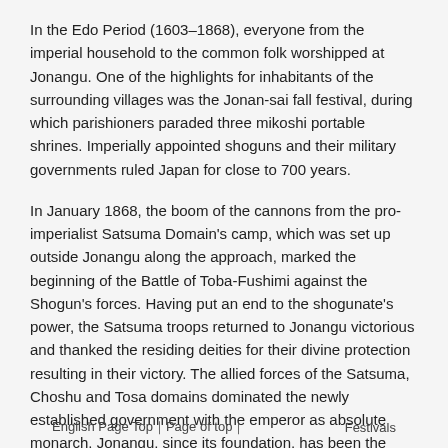In the Edo Period (1603–1868), everyone from the imperial household to the common folk worshipped at Jonangu. One of the highlights for inhabitants of the surrounding villages was the Jonan-sai fall festival, during which parishioners paraded three mikoshi portable shrines. Imperially appointed shoguns and their military governments ruled Japan for close to 700 years.
In January 1868, the boom of the cannons from the pro-imperialist Satsuma Domain's camp, which was set up outside Jonangu along the approach, marked the beginning of the Battle of Toba-Fushimi against the Shogun's forces. Having put an end to the shogunate's power, the Satsuma troops returned to Jonangu victorious and thanked the residing deities for their divine protection resulting in their victory. The allied forces of the Satsuma, Choshu and Tosa domains dominated the newly established government with the emperor as absolute monarch. Jonangu, since its foundation, has been the historical stage for the dawn of new eras.
English Page Top｜Page of top｜    Festivals